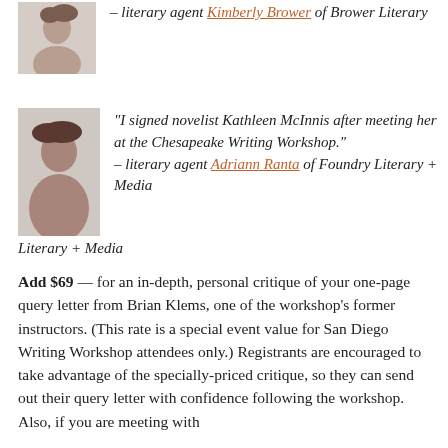[Figure (photo): Headshot of woman (top, partially visible)]
– literary agent Kimberly Brower of Brower Literary
[Figure (photo): Headshot of woman with dark hair]
“I signed novelist Kathleen McInnis after meeting her at the Chesapeake Writing Workshop.” – literary agent Adriann Ranta of Foundry Literary + Media
Add $69 — for an in-depth, personal critique of your one-page query letter from Brian Klems, one of the workshop’s former instructors. (This rate is a special event value for San Diego Writing Workshop attendees only.) Registrants are encouraged to take advantage of the specially-priced critique, so they can send out their query letter with confidence following the workshop. Also, if you are meeting with